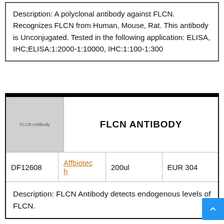Description: A polyclonal antibody against FLCN. Recognizes FLCN from Human, Mouse, Rat. This antibody is Unconjugated. Tested in the following application: ELISA, IHC;ELISA:1:2000-1:10000, IHC:1:100-1:300
|  | FLCN ANTIBODY |
| --- | --- |
| DF12608 | Affbiotec h | 200ul | EUR 304 |
| Description: FLCN Antibody detects endogenous levels of FLCN. |  |  |  |